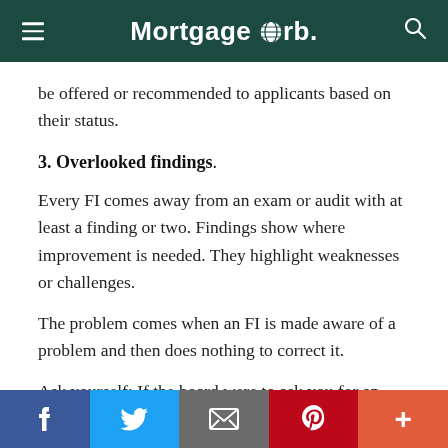MortgageOrb.
be offered or recommended to applicants based on their status.
3. Overlooked findings.
Every FI comes away from an exam or audit with at least a finding or two. Findings show where improvement is needed. They highlight weaknesses or challenges.
The problem comes when an FI is made aware of a problem and then does nothing to correct it.
Ask yourself: If the board were to ask you for an update on
Facebook | Twitter | Email | Pinterest | More